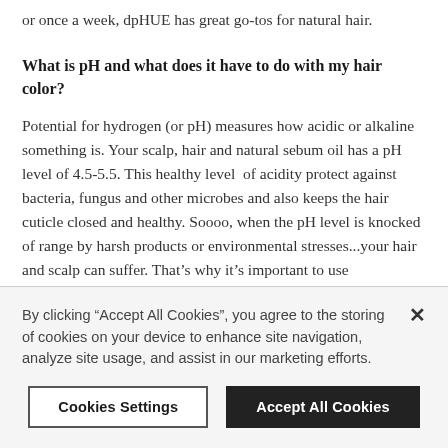or once a week, dpHUE has great go-tos for natural hair.
What is pH and what does it have to do with my hair color?
Potential for hydrogen (or pH) measures how acidic or alkaline something is. Your scalp, hair and natural sebum oil has a pH level of 4.5-5.5. This healthy level of acidity protect against bacteria, fungus and other microbes and also keeps the hair cuticle closed and healthy. Soooo, when the pH level is knocked of range by harsh products or environmental stresses...your hair and scalp can suffer. That’s why it’s important to use
By clicking “Accept All Cookies”, you agree to the storing of cookies on your device to enhance site navigation, analyze site usage, and assist in our marketing efforts.
Cookies Settings
Accept All Cookies